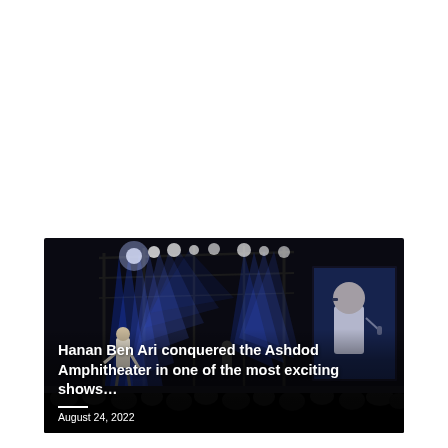[Figure (photo): Concert photo showing a performer on stage at the Ashdod Amphitheater. Blue stage lights illuminate scaffolding and rigging. A large screen on the right shows a close-up of the performer. Silhouetted audience in the foreground. Text overlay reads 'Hanan Ben Ari conquered the Ashdod Amphitheater in one of the most exciting shows…' with date 'August 24, 2022'.]